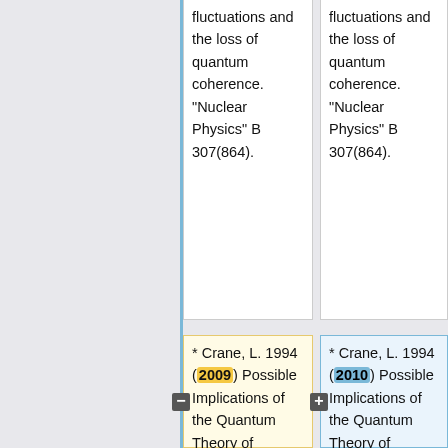fluctuations and the loss of quantum coherence. "Nuclear Physics" B 307(864).
fluctuations and the loss of quantum coherence. "Nuclear Physics" B 307(864).
* Crane, L. 1994 (2009) Possible Implications of the Quantum Theory of Gravity: An Introduction to the Meduso-Anthropic Principle. "Foundations of Science" Preprint 1994, no. Special Issue of the First Conference on the Evolution and...
* Crane, L. 1994 (2010) Possible Implications of the Quantum Theory of Gravity: An Introduction to the Meduso-Anthropic Principle. "Foundations of Science" Preprint 1994, no. Special Issue of the First Conference on the Evolution and...